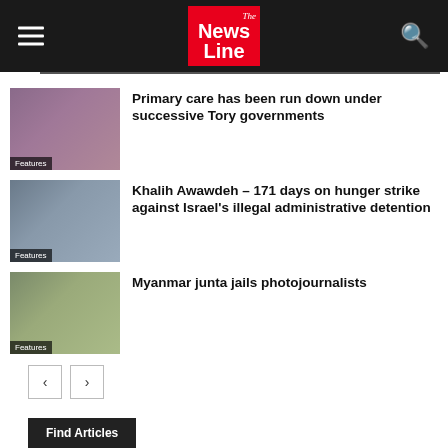The News Line
[Figure (photo): Protest photo with people holding signs - Features]
Primary care has been run down under successive Tory governments
[Figure (photo): Person on hunger strike - Features]
Khalih Awawdeh – 171 days on hunger strike against Israel's illegal administrative detention
[Figure (photo): Myanmar protest - Features]
Myanmar junta jails photojournalists
< >
Find Articles